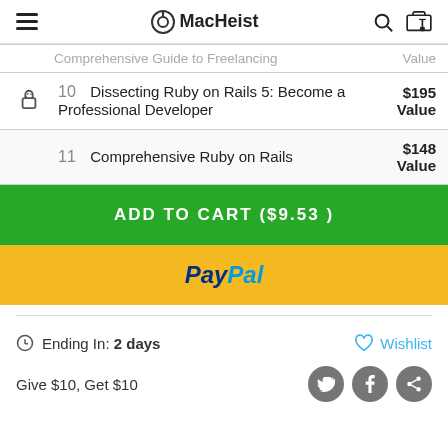MacHeist
| # | Title | Price |
| --- | --- | --- |
|  | Comprehensive Guide to Freelancing | Value |
| 10 | Dissecting Ruby on Rails 5: Become a Professional Developer | $195 Value |
| 11 | Comprehensive Ruby on Rails | $148 Value |
ADD TO CART ($9.53)
[Figure (logo): PayPal payment button with yellow background]
Ending In: 2 days
Wishlist
Give $10, Get $10
[Figure (other): Social sharing icons: Twitter, Facebook, Share]